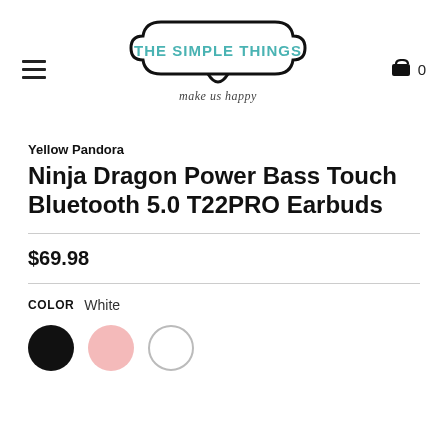[Figure (logo): The Simple Things store logo with decorative badge border and tagline 'make us happy']
Yellow Pandora
Ninja Dragon Power Bass Touch Bluetooth 5.0 T22PRO Earbuds
$69.98
COLOR  White
[Figure (illustration): Three color swatches: black circle, pink circle, white circle with gray border]